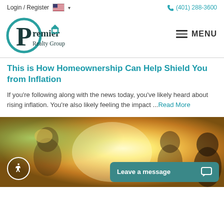Login / Register  (401) 288-3600
[Figure (logo): Premier Realty Group logo with teal circular P and house icon]
This is How Homeownership Can Help Shield You from Inflation
If you're following along with the news today, you've likely heard about rising inflation. You're also likely feeling the impact ...Read More
[Figure (photo): Photo of smiling people outdoors in bright sunlight with greenery, with accessibility icon and Leave a message chat button overlaid]